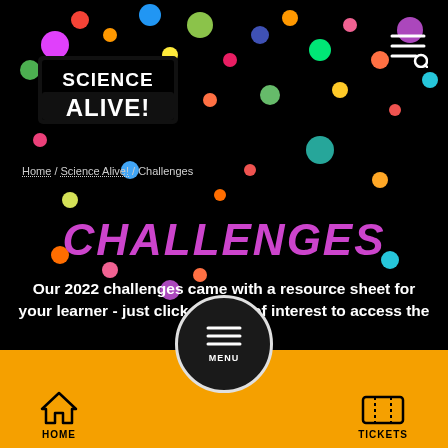[Figure (logo): Science Alive! logo with colorful circles/dots on black background]
Home / Science Alive! / Challenges
CHALLENGES
Our 2022 challenges came with a resource sheet for your learner - just click the title of interest to access the pdfs
HOME   MENU   TICKETS